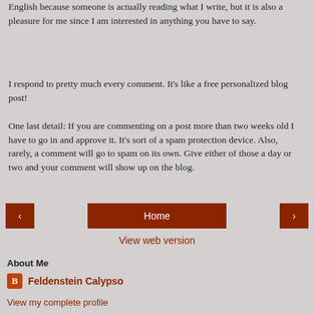English because someone is actually reading what I write, but it is also a pleasure for me since I am interested in anything you have to say.
I respond to pretty much every comment. It's like a free personalized blog post!
One last detail: If you are commenting on a post more than two weeks old I have to go in and approve it. It's sort of a spam protection device. Also, rarely, a comment will go to spam on its own. Give either of those a day or two and your comment will show up on the blog.
[Figure (other): Navigation buttons: left arrow, Home button, right arrow]
View web version
About Me
Feldenstein Calypso
View my complete profile